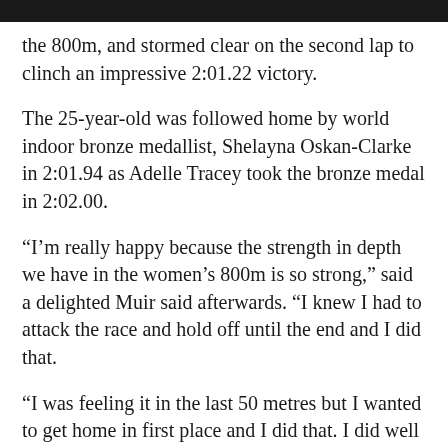the 800m, and stormed clear on the second lap to clinch an impressive 2:01.22 victory.
The 25-year-old was followed home by world indoor bronze medallist, Shelayna Oskan-Clarke in 2:01.94 as Adelle Tracey took the bronze medal in 2:02.00.
“I’m really happy because the strength in depth we have in the women’s 800m is so strong,” said a delighted Muir said afterwards. “I knew I had to attack the race and hold off until the end and I did that.
“I was feeling it in the last 50 metres but I wanted to get home in first place and I did that. I did well indoors but Berlin will be my first chance to win a senior outdoor medal.”